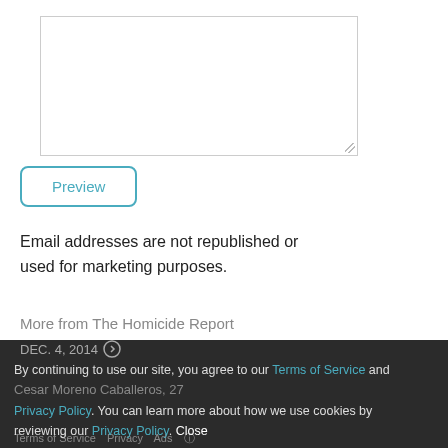[Figure (screenshot): Text area input box with resize handle]
Preview
Email addresses are not republished or used for marketing purposes.
More from The Homicide Report
DEC. 5 2014
David Scott Wear, 42
DEC. 4, 2014
By continuing to use our site, you agree to our Terms of Service and Privacy Policy. You can learn more about how we use cookies by reviewing our Privacy Policy. Close
Cesar Moreno Caballeros, 27
Terms of Service  Privacy  Ads